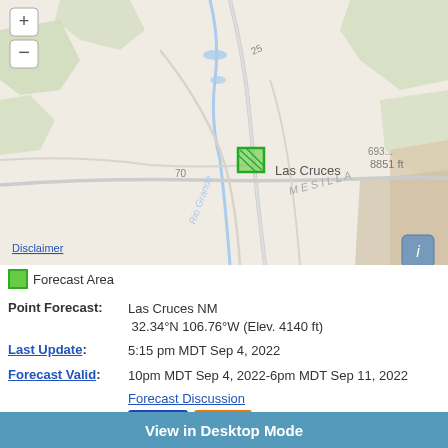[Figure (map): Topographic map showing Las Cruces, NM area with roads (I-25, Route 70), Rio Grande, Mesilla region, green forecast area marker, zoom controls (+/-), elevation label 8851 ft, and info button. Disclaimer link in bottom left of map.]
Forecast Area
Point Forecast: Las Cruces NM 32.34°N 106.76°W (Elev. 4140 ft)
Last Update: 5:15 pm MDT Sep 4, 2022
Forecast Valid: 10pm MDT Sep 4, 2022-6pm MDT Sep 11, 2022
Forecast Discussion
KML
XML
View in Desktop Mode